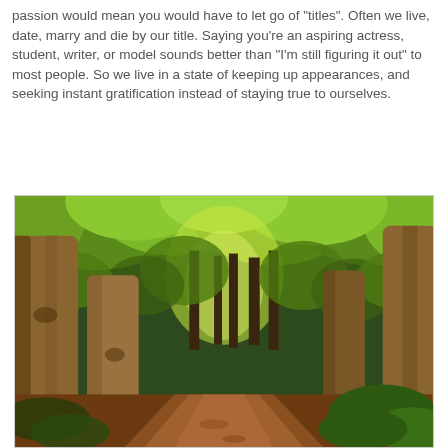passion would mean you would have to let go of "titles". Often we live, date, marry and die by our title. Saying you're an aspiring actress, student, writer, or model sounds better than "I'm still figuring it out" to most people. So we live in a state of keeping up appearances, and seeking instant gratification instead of staying true to ourselves.
[Figure (photo): A forest path with large tree trunks in the foreground and a winding red-earth path leading into lush green foliage in the background. Sunlight filters through the green canopy.]